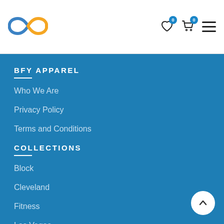[Figure (logo): BFY Apparel infinity loop logo in blue and orange colors]
BFY APPAREL
Who We Are
Privacy Policy
Terms and Conditions
COLLECTIONS
Block
Cleveland
Fitness
Las Vegas
New Orleans